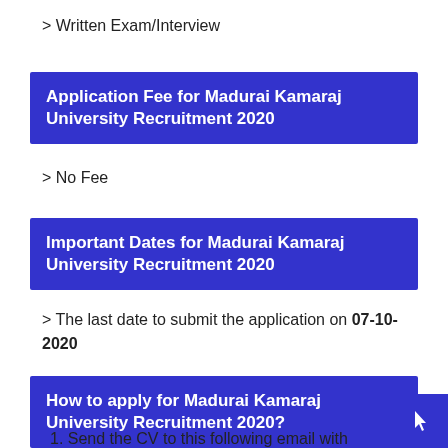> Written Exam/Interview
Application Fee for Madurai Kamaraj University Recruitment 2020
> No Fee
Important Dates for Madurai Kamaraj University Recruitment 2020
> The last date to submit the application on 07-10-2020
How to apply for Madurai Kamaraj University Recruitment 2020?
1. Send the CV to this following email with all the